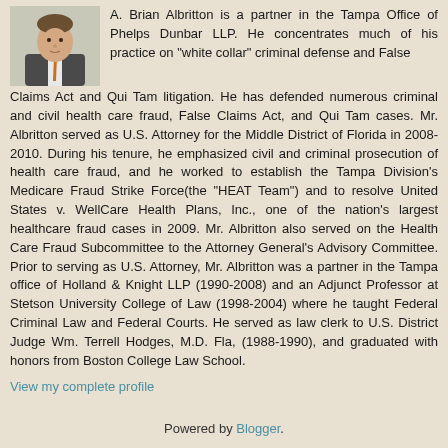[Figure (photo): Headshot photo of a man in a suit with an orange tie, positioned in the upper left corner]
A. Brian Albritton is a partner in the Tampa Office of Phelps Dunbar LLP. He concentrates much of his practice on “white collar” criminal defense and False Claims Act and Qui Tam litigation. He has defended numerous criminal and civil health care fraud, False Claims Act, and Qui Tam cases. Mr. Albritton served as U.S. Attorney for the Middle District of Florida in 2008-2010. During his tenure, he emphasized civil and criminal prosecution of health care fraud, and he worked to establish the Tampa Division’s Medicare Fraud Strike Force(the “HEAT Team”) and to resolve United States v. WellCare Health Plans, Inc., one of the nation's largest healthcare fraud cases in 2009. Mr. Albritton also served on the Health Care Fraud Subcommittee to the Attorney General's Advisory Committee. Prior to serving as U.S. Attorney, Mr. Albritton was a partner in the Tampa office of Holland & Knight LLP (1990-2008) and an Adjunct Professor at Stetson University College of Law (1998-2004) where he taught Federal Criminal Law and Federal Courts. He served as law clerk to U.S. District Judge Wm. Terrell Hodges, M.D. Fla, (1988-1990), and graduated with honors from Boston College Law School.
View my complete profile
Powered by Blogger.